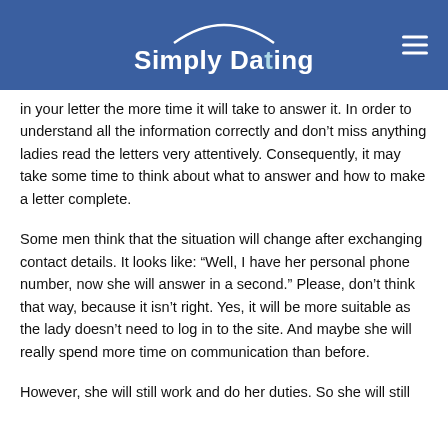Simply Dating
in your letter the more time it will take to answer it. In order to understand all the information correctly and don't miss anything ladies read the letters very attentively. Consequently, it may take some time to think about what to answer and how to make a letter complete.
Some men think that the situation will change after exchanging contact details. It looks like: “Well, I have her personal phone number, now she will answer in a second.” Please, don’t think that way, because it isn’t right. Yes, it will be more suitable as the lady doesn’t need to log in to the site. And maybe she will really spend more time on communication than before.
However, she will still work and do her duties. So she will still